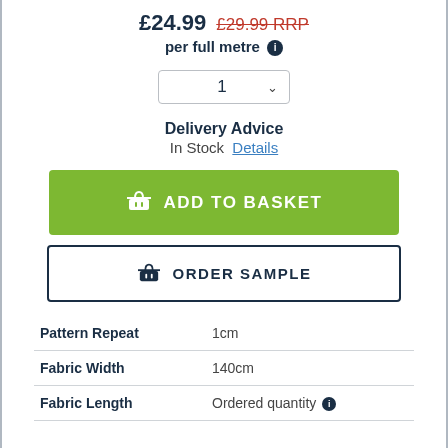£24.99  £29.99 RRP
per full metre ℹ
1 (quantity selector)
Delivery Advice
In Stock  Details
ADD TO BASKET
ORDER SAMPLE
| Property | Value |
| --- | --- |
| Pattern Repeat | 1cm |
| Fabric Width | 140cm |
| Fabric Length | Ordered quantity ℹ |